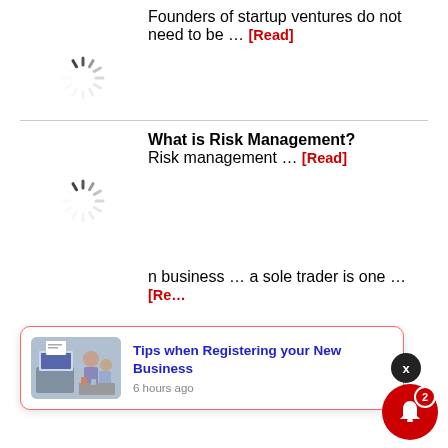Founders of startup ventures do not need to be … [Read]
[Figure (other): Loading spinner icon (first)]
What is Risk Management? Risk management … [Read]
[Figure (other): Loading spinner icon (second)]
[Figure (other): Notification popup with image: Tips when Registering your New Business, 6 hours ago]
n business … a sole trader is one … [Re…